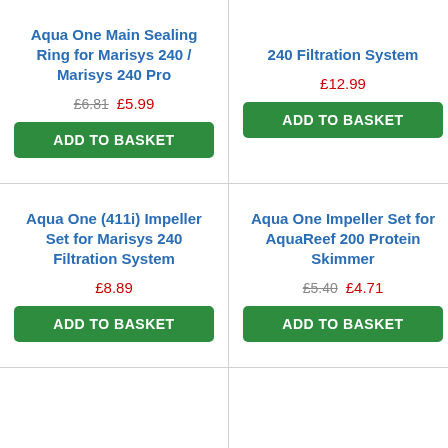Aqua One Main Sealing Ring for Marisys 240 / Marisys 240 Pro
£6.81  £5.99
ADD TO BASKET
240 Filtration System
£12.99
ADD TO BASKET
Aqua One (411i) Impeller Set for Marisys 240 Filtration System
£8.89
ADD TO BASKET
Aqua One Impeller Set for AquaReef 200 Protein Skimmer
£5.40  £4.71
ADD TO BASKET